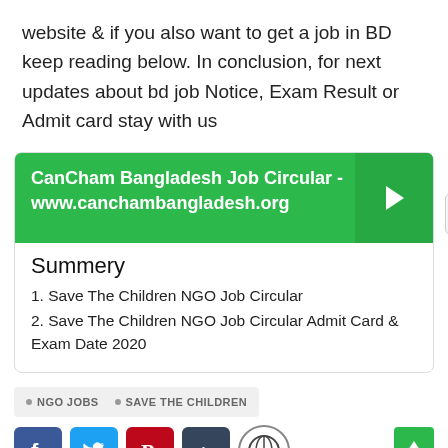website & if you also want to get a job in BD keep reading below. In conclusion, for next updates about bd job Notice, Exam Result or Admit card stay with us
[Figure (infographic): Green banner card for CanCham Bangladesh Job Circular with URL www.canchambangladesh.org, arrow button, and TOC icon button]
Summery
1. Save The Children NGO Job Circular
2. Save The Children NGO Job Circular Admit Card & Exam Date 2020
NGO JOBS • SAVE THE CHILDREN
[Figure (infographic): Social share buttons: Facebook, Twitter, Pinterest, Tumblr, WordPress]